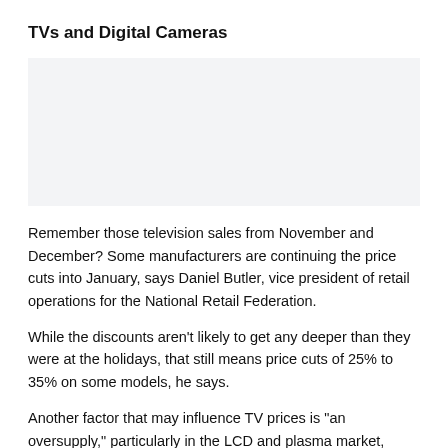TVs and Digital Cameras
[Figure (photo): Placeholder image area for TVs and Digital Cameras section]
Remember those television sales from November and December? Some manufacturers are continuing the price cuts into January, says Daniel Butler, vice president of retail operations for the National Retail Federation.
While the discounts aren't likely to get any deeper than they were at the holidays, that still means price cuts of 25% to 35% on some models, he says.
Another factor that may influence TV prices is "an oversupply," particularly in the LCD and plasma market,